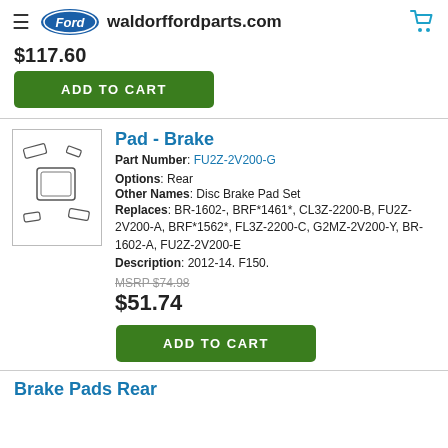waldorffordparts.com
$117.60
ADD TO CART
Pad - Brake
Part Number: FU2Z-2V200-G
Options: Rear
Other Names: Disc Brake Pad Set
Replaces: BR-1602-, BRF*1461*, CL3Z-2200-B, FU2Z-2V200-A, BRF*1562*, FL3Z-2200-C, G2MZ-2V200-Y, BR-1602-A, FU2Z-2V200-E
Description: 2012-14. F150.
MSRP $74.98
$51.74
ADD TO CART
[Figure (illustration): Line drawing of brake pad set components]
Brake Pads Rear